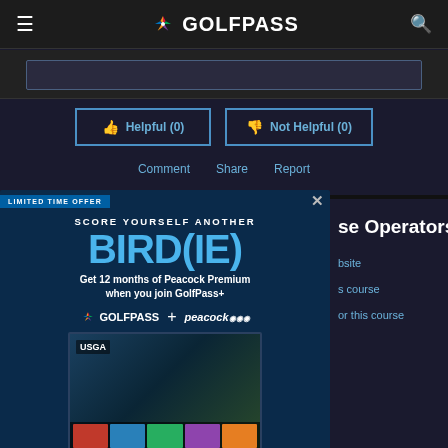GOLFPASS
[Figure (screenshot): Partial view of a review content area with a text input box]
Helpful (0)   Not Helpful (0)
Comment   Share   Report
[Figure (infographic): GolfPass advertisement popup: LIMITED TIME OFFER - SCORE YOURSELF ANOTHER BIRD(IE) - Get 12 months of Peacock Premium when you join GolfPass+ - GOLFPASS + peacock logos - USGA screen image - JOIN NOW button - $4.99/mo est. Eligibility restrictions and terms apply.]
se Operators
bsite
s course
or this course